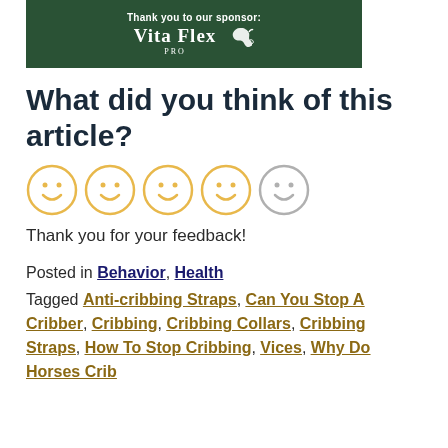[Figure (logo): Dark green banner with text 'Thank you to our sponsor:' and Vita Flex PRO logo with white horse silhouette]
What did you think of this article?
[Figure (infographic): Five smiley face rating icons, four yellow/gold colored and one grey, representing a rating widget]
Thank you for your feedback!
Posted in Behavior, Health
Tagged Anti-cribbing Straps, Can You Stop A Cribber, Cribbing, Cribbing Collars, Cribbing Straps, How To Stop Cribbing, Vices, Why Do Horses Crib